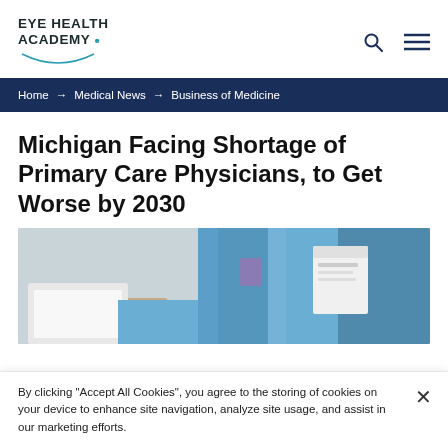EYE HEALTH ACADEMY
Home → Medical News → Business of Medicine
Michigan Facing Shortage of Primary Care Physicians, to Get Worse by 2030
[Figure (photo): A person wearing a light blue medical scrubs/shirt with a name badge, partially visible, appearing to hold a tablet or clipboard.]
By clicking "Accept All Cookies", you agree to the storing of cookies on your device to enhance site navigation, analyze site usage, and assist in our marketing efforts.